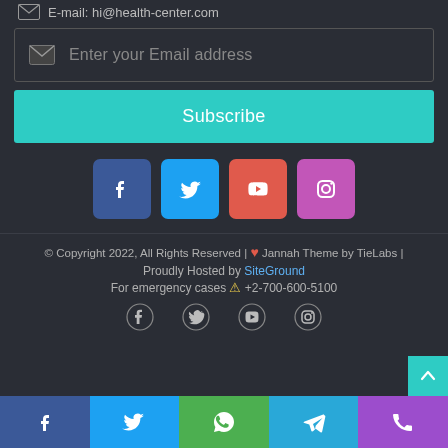E-mail: hi@health-center.com
Enter your Email address
Subscribe
[Figure (infographic): Row of 4 colored social media icon buttons: Facebook (blue), Twitter (light blue), YouTube (red-orange), Instagram (purple)]
© Copyright 2022, All Rights Reserved | ❤ Jannah Theme by TieLabs | Proudly Hosted by SiteGround
For emergency cases ⚠ +2-700-600-5100
[Figure (infographic): Row of 4 plain white social media icons: Facebook, Twitter, YouTube, Instagram]
[Figure (infographic): Bottom bar with 5 colored social share buttons: Facebook (blue), Twitter (light blue), WhatsApp (green), Telegram (cyan), Phone (purple)]